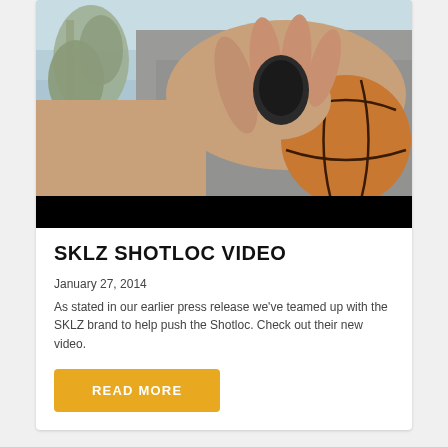[Figure (photo): Person holding a basketball with hands gripping the ball, wearing a grey shirt, outdoors with trees in the background and a black bar at the bottom of the image.]
SKLZ SHOTLOC VIDEO
January 27, 2014
As stated in our earlier press release we've teamed up with the SKLZ brand to help push the Shotloc. Check out their new video.
READ MORE